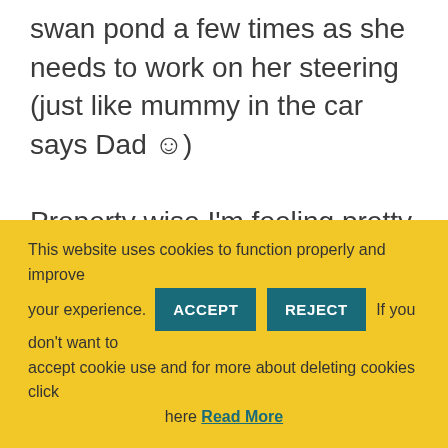swan pond a few times as she needs to work on her steering (just like mummy in the car says Dad ☺)

Property wise I'm feeling pretty good because we've had new tenants move into our latest rental property, we've had two new viewings set up for a b...
This website uses cookies to function properly and improve your experience. ACCEPT REJECT If you don't want to accept cookie use and for more about deleting cookies click here Read More